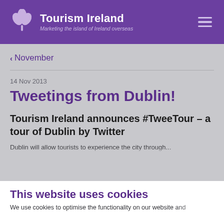Tourism Ireland — Marketing the island of Ireland overseas
‹ November
14 Nov 2013
Tweetings from Dublin!
Tourism Ireland announces #TweeTour – a tour of Dublin by Twitter
Dublin will allow tourists to experience the city through...
This website uses cookies
We use cookies to optimise the functionality on our website and...